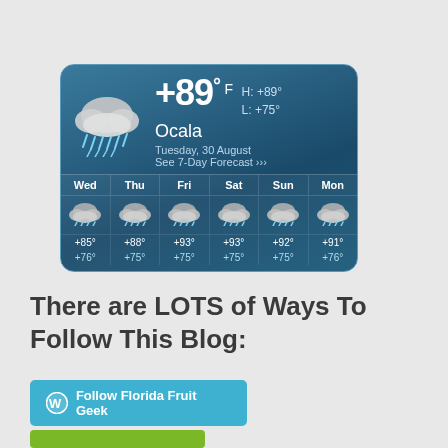[Figure (screenshot): Weather widget showing current temperature +89°F in Ocala, Tuesday 30 August, with H: +89° L: +75°, and a 6-day forecast (Wed–Mon) with rain cloud icons and temperatures.]
There are LOTS of Ways To Follow This Blog:
[Figure (screenshot): Blue 'Follow Florida Fruit Geek' button with WordPress logo icon]
[Figure (screenshot): Green follow/subscribe button, partially visible at bottom of page]